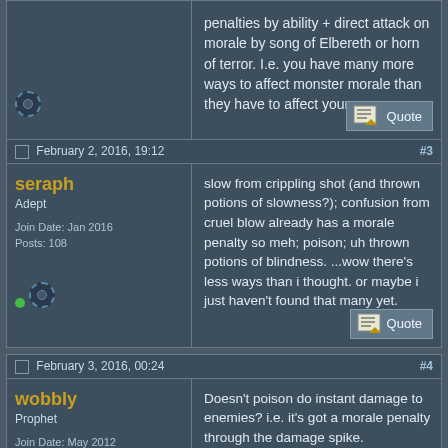penalties by ability + direct attack on morale by song of Elbereth or horn of terror. I.e. you have many more ways to affect monster morale than they have to affect yours.
February 2, 2016, 19:12   #3
seraph
Adept
Join Date: Jan 2016
Posts: 108
slow from crippling shot (and thrown potions of slowness?); confusion from cruel blow already has a morale penalty so meh; poison; uh thrown potions of blindness. ...wow there's less ways than i thought. or maybe i just haven't found that many yet.
February 3, 2016, 00:24   #4
wobbly
Prophet
Join Date: May 2012
Location: Adelaide, Australia
Posts: 2,585
Doesn't poison do instant damage to enemies? i.e. it's got a morale penalty through the damage spike.